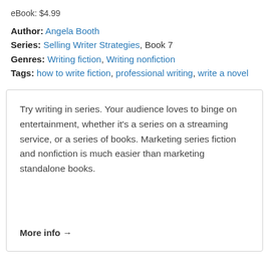eBook: $4.99
Author: Angela Booth
Series: Selling Writer Strategies, Book 7
Genres: Writing fiction, Writing nonfiction
Tags: how to write fiction, professional writing, write a novel
Try writing in series. Your audience loves to binge on entertainment, whether it's a series on a streaming service, or a series of books. Marketing series fiction and nonfiction is much easier than marketing standalone books.
More info →